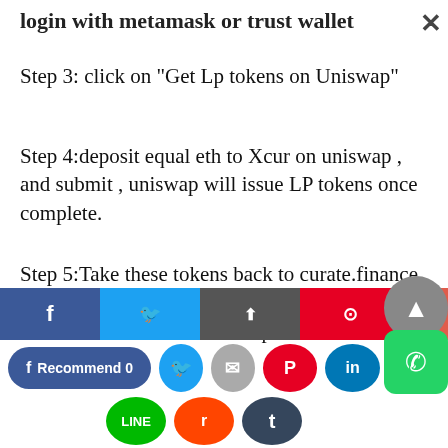login with metamask or trust wallet
Step 3: click on “Get Lp tokens on Uniswap”
Step 4:deposit equal eth to Xcur on uniswap , and submit , uniswap will issue LP tokens once complete.
Step 5:Take these tokens back to curate.finance, click approve then once that’s completed , click max then stake and stake on platform to earn Xcur!